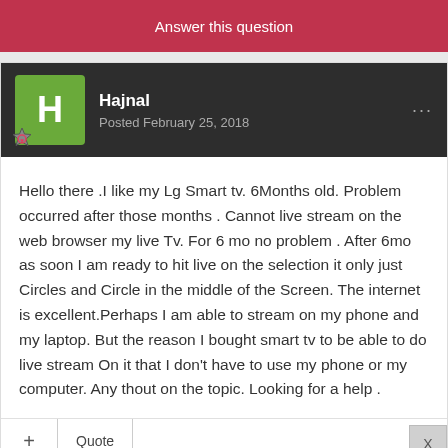Answer this question
Hajnal
Posted February 25, 2018
Hello there .I like my Lg Smart tv. 6Months old. Problem occurred after those months . Cannot live stream on the web browser my live Tv. For 6 mo no problem . After 6mo as soon I am ready to hit live on the selection it only just Circles and Circle in the middle of the Screen. The internet is excellent.Perhaps I am able to stream on my phone and my laptop. But the reason I bought smart tv to be able to do live stream On it that I don't have to use my phone or my computer. Any thout on the topic. Looking for a help .